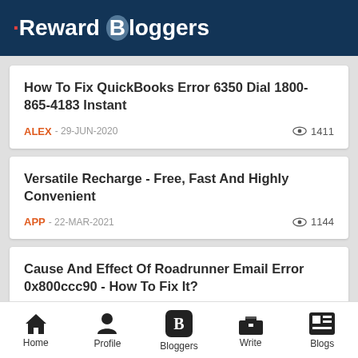Reward Bloggers
How To Fix QuickBooks Error 6350 Dial 1800-865-4183 Instant
ALEX - 29-JUN-2020  👁 1411
Versatile Recharge - Free, Fast And Highly Convenient
APP - 22-MAR-2021  👁 1144
Cause And Effect Of Roadrunner Email Error 0x800ccc90 - How To Fix It?
Home  Profile  Bloggers  Write  Blogs